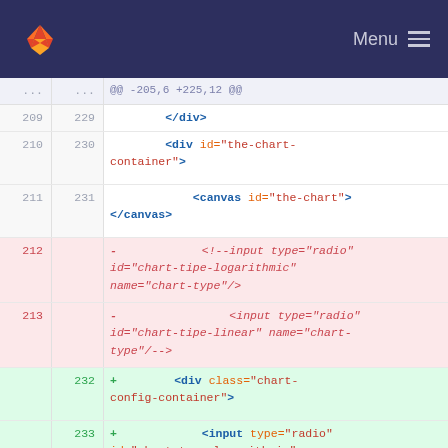GitLab navigation bar with logo and Menu
@@ -205,6 +225,12 @@
209 229     </div>
210 230     <div id="the-chart-container">
211 231         <canvas id="the-chart"> </canvas>
212 -   <!--input type="radio" id="chart-tipe-logarithmic" name="chart-type"/>
213 -       <input type="radio" id="chart-tipe-linear" name="chart-type"/>-->
232 +   <div class="chart-config-container">
233 +       <input type="radio" id="chart-type-logarithmic" name="chart-type" value="logarithmic" checked="checked"/>
234 +   <label for="chart-type-logarithmic">logarithmic